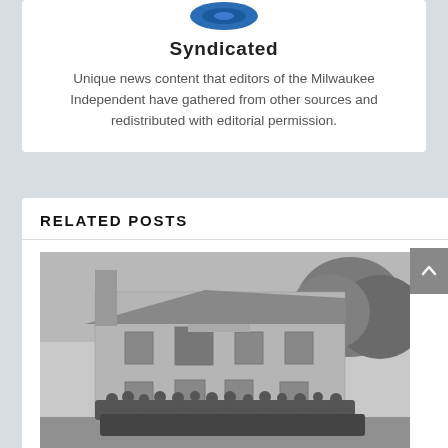[Figure (logo): Partial blue circular logo at top of card]
Syndicated
Unique news content that editors of the Milwaukee Independent have gathered from other sources and redistributed with editorial permission.
RELATED POSTS
[Figure (photo): Black and white historical photograph of a large group of people posed in front of a two-story stone building with trees in background]